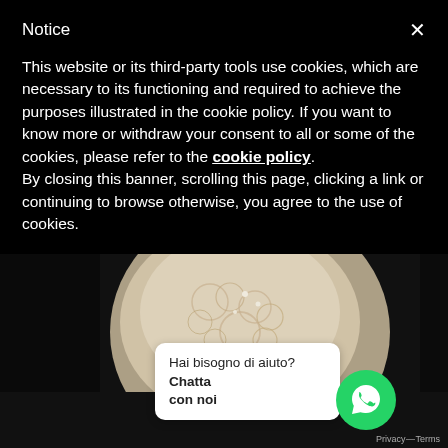Notice
This website or its third-party tools use cookies, which are necessary to its functioning and required to achieve the purposes illustrated in the cookie policy. If you want to know more or withdraw your consent to all or some of the cookies, please refer to the cookie policy.
By closing this banner, scrolling this page, clicking a link or continuing to browse otherwise, you agree to the use of cookies.
[Figure (photo): Close-up photo of detailed lace fabric on a dress, shown against a dark background.]
Hai bisogno di aiuto? Chatta con noi